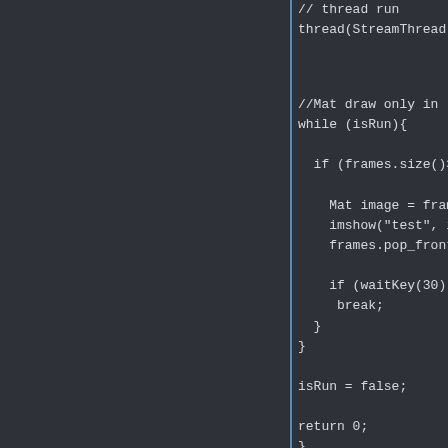[Figure (screenshot): Code editor screenshot showing C++ code snippet with dark background. Left panel is empty dark area separated by a blue vertical line from the right panel. Right panel shows code: thread run comment, thread(StreamThread..., blank line, //Mat draw only in comment, while (isRun){ loop, if (frames.size()> condition, Mat image = frame..., imshow("test", im..., frames.pop_front(..., if (waitKey(30) > conditional, break;, closing braces, isRun = false;, return 0;, closing brace, and ... ellipsis.]